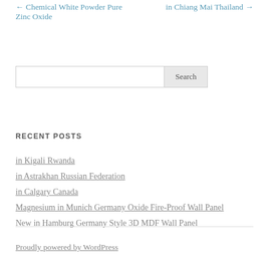← Chemical White Powder Pure Zinc Oxide
in Chiang Mai Thailand →
[Figure (other): Search input box with Search button]
RECENT POSTS
in Kigali Rwanda
in Astrakhan Russian Federation
in Calgary Canada
Magnesium in Munich Germany Oxide Fire-Proof Wall Panel
New in Hamburg Germany Style 3D MDF Wall Panel
Proudly powered by WordPress